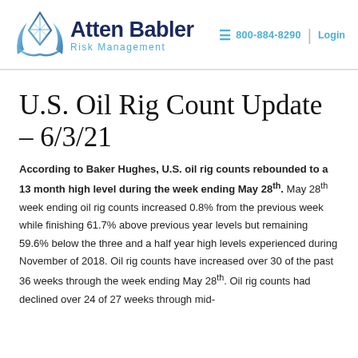[Figure (logo): Atten Babler Risk Management logo with diamond/arch SVG icon in teal/blue gradient and company name in dark navy]
≡ 800-884-8290 | Login
U.S. Oil Rig Count Update – 6/3/21
According to Baker Hughes, U.S. oil rig counts rebounded to a 13 month high level during the week ending May 28th. May 28th week ending oil rig counts increased 0.8% from the previous week while finishing 61.7% above previous year levels but remaining 59.6% below the three and a half year high levels experienced during November of 2018. Oil rig counts have increased over 30 of the past 36 weeks through the week ending May 28th. Oil rig counts had declined over 24 of 27 weeks through mid-